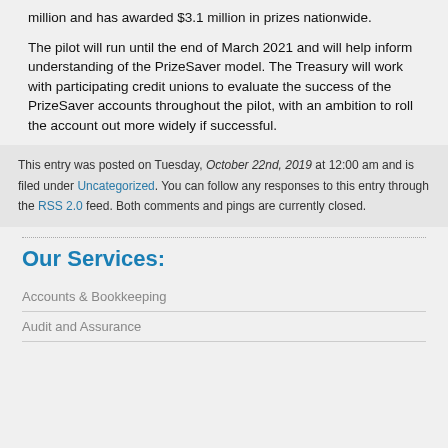million and has awarded $3.1 million in prizes nationwide.
The pilot will run until the end of March 2021 and will help inform understanding of the PrizeSaver model. The Treasury will work with participating credit unions to evaluate the success of the PrizeSaver accounts throughout the pilot, with an ambition to roll the account out more widely if successful.
This entry was posted on Tuesday, October 22nd, 2019 at 12:00 am and is filed under Uncategorized. You can follow any responses to this entry through the RSS 2.0 feed. Both comments and pings are currently closed.
Our Services:
Accounts & Bookkeeping
Audit and Assurance